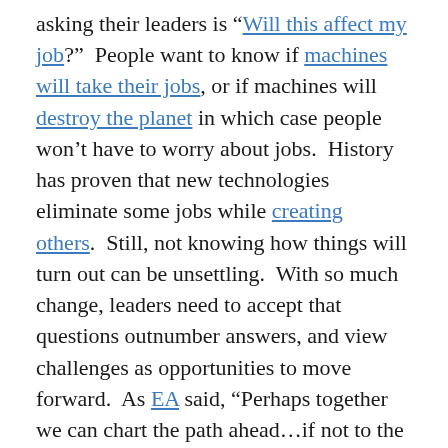asking their leaders is “Will this affect my job?”  People want to know if machines will take their jobs, or if machines will destroy the planet in which case people won’t have to worry about jobs.  History has proven that new technologies eliminate some jobs while creating others.  Still, not knowing how things will turn out can be unsettling.  With so much change, leaders need to accept that questions outnumber answers, and view challenges as opportunities to move forward.  As EA said, “Perhaps together we can chart the path ahead…if not to the final destination, then certainly the next step.  And may we do so with one foot raised.”